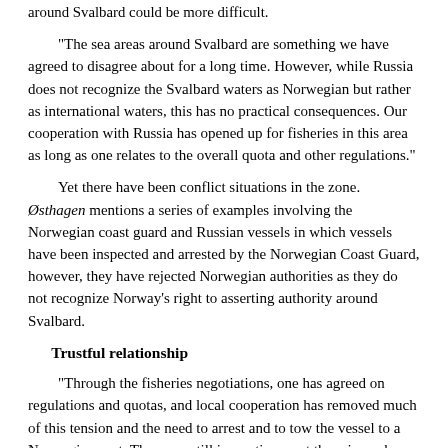around Svalbard could be more difficult.
“The sea areas around Svalbard are something we have agreed to disagree about for a long time. However, while Russia does not recognize the Svalbard waters as Norwegian but rather as international waters, this has no practical consequences. Our cooperation with Russia has opened up for fisheries in this area as long as one relates to the overall quota and other regulations.”
Yet there have been conflict situations in the zone. Østhagen mentions a series of examples involving the Norwegian coast guard and Russian vessels in which vessels have been inspected and arrested by the Norwegian Coast Guard, however, they have rejected Norwegian authorities as they do not recognize Norway’s right to asserting authority around Svalbard.
Trustful relationship
“Through the fisheries negotiations, one has agreed on regulations and quotas, and local cooperation has removed much of this tension and the need to arrest and to tow the vessel to a Norwegian port. There are still inspections, yet there is a scheme in place through which this is solved at sea using fines. The Coast Guard itself points to this scheme as vital for these events to not escalate. Yet the scheme also requires an element of